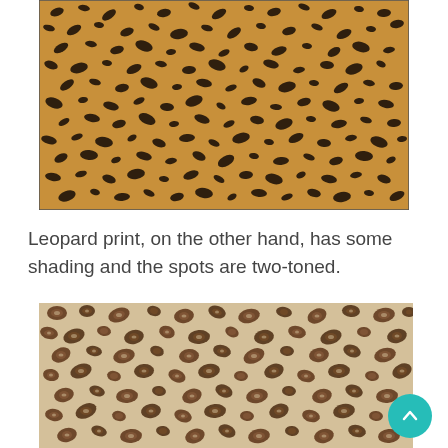[Figure (photo): Cheetah print fabric pattern — golden/tan background with small solid black spots scattered densely across the surface]
Leopard print, on the other hand, has some shading and the spots are two-toned.
[Figure (photo): Leopard print fabric pattern — cream/beige background with brown two-toned rosette spots (dark brown outline with lighter brown interior)]